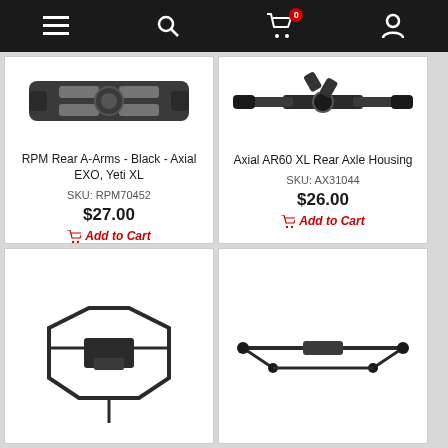Navigation bar with menu, search, cart (0), and account icons
[Figure (photo): RPM Rear A-Arms black plastic part for Axial EXO, Yeti XL]
RPM Rear A-Arms - Black - Axial EXO, Yeti XL
SKU: RPM70452
$27.00
Add to Cart
[Figure (photo): Axial AR60 XL Rear Axle Housing metal part]
Axial AR60 XL Rear Axle Housing
SKU: AX31044
$26.00
Add to Cart
[Figure (photo): RC car front bumper or chassis part, black plastic]
[Figure (photo): RC car part, black rods or links]